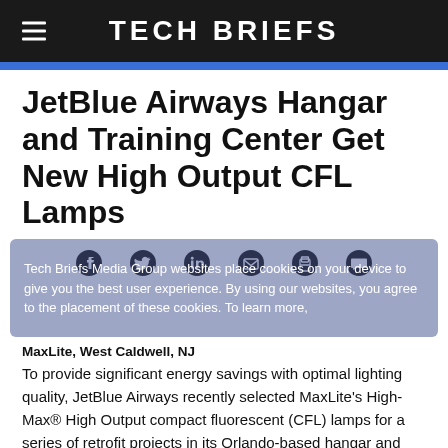Tech Briefs
JetBlue Airways Hangar and Training Center Get New High Output CFL Lamps
[Figure (other): Social share icons (Facebook, Twitter, LinkedIn, Email, Print, Comment) on a light grey background with a cookie consent overlay]
MaxLite, West Caldwell, NJ
To provide significant energy savings with optimal lighting quality, JetBlue Airways recently selected MaxLite's High-Max® High Output compact fluorescent (CFL) lamps for a series of retrofit projects in its Orlando-based hangar and training center. With maintained lumens and crisp color rendering throughout the bulbs' long 10,000 hour lifetime, MaxLite's